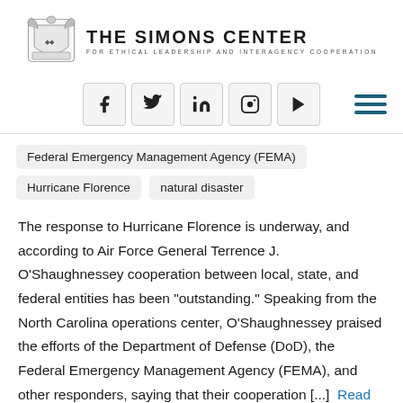THE SIMONS CENTER FOR ETHICAL LEADERSHIP AND INTERAGENCY COOPERATION
Federal Emergency Management Agency (FEMA)
Hurricane Florence
natural disaster
The response to Hurricane Florence is underway, and according to Air Force General Terrence J. O'Shaughnessey cooperation between local, state, and federal entities has been “outstanding.” Speaking from the North Carolina operations center, O'Shaughnessey praised the efforts of the Department of Defense (DoD), the Federal Emergency Management Agency (FEMA), and other responders, saying that their cooperation [...] Read More